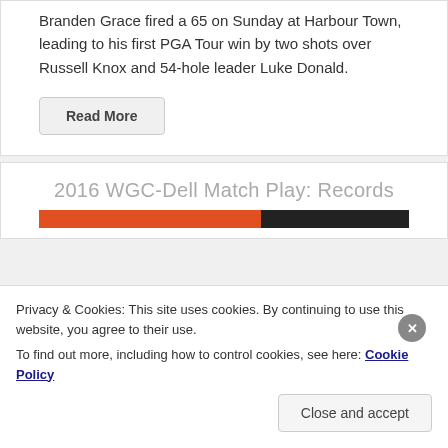Branden Grace fired a 65 on Sunday at Harbour Town, leading to his first PGA Tour win by two shots over Russell Knox and 54-hole leader Luke Donald.
Read More
2016 WGC-Dell Match Play: Records
Privacy & Cookies: This site uses cookies. By continuing to use this website, you agree to their use. To find out more, including how to control cookies, see here: Cookie Policy
Close and accept